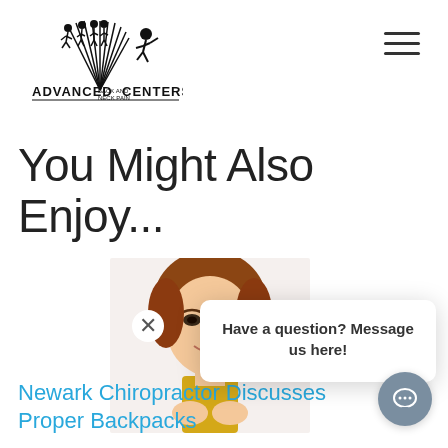[Figure (logo): Advanced Back and Neck Pain Centers logo with human spine figures and a running person]
You Might Also Enjoy...
[Figure (photo): Young woman with short brown hair in a yellow top, smiling and holding something, partially obscured by chat popup]
Have a question? Message us here!
Newark Chiropractor Discusses Proper Backpacks